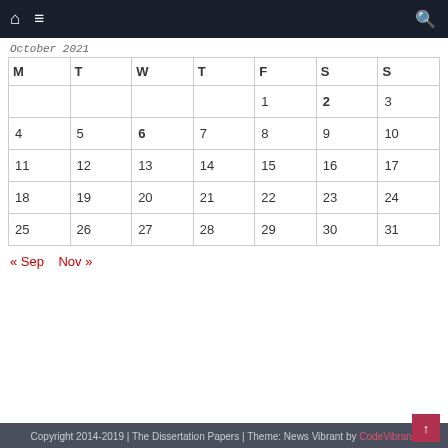Navigation bar with home icon, menu icon, and search icon
October 2021
| M | T | W | T | F | S | S |
| --- | --- | --- | --- | --- | --- | --- |
|  |  |  |  | 1 | 2 | 3 |
| 4 | 5 | 6 | 7 | 8 | 9 | 10 |
| 11 | 12 | 13 | 14 | 15 | 16 | 17 |
| 18 | 19 | 20 | 21 | 22 | 23 | 24 |
| 25 | 26 | 27 | 28 | 29 | 30 | 31 |
« Sep    Nov »
Copyright 2014-2019 | The Dissertation Papers | Theme: News Vibrant by CodeVibrant.